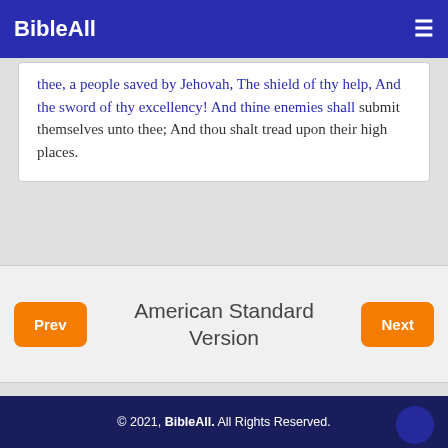BibleAll
thee, a people saved by Jehovah, The shield of thy help, And the sword of thy excellency! And thine enemies shall submit themselves unto thee; And thou shalt tread upon their high places.
Prev | American Standard Version | Next
© 2021, BibleAll. All Rights Reserved.